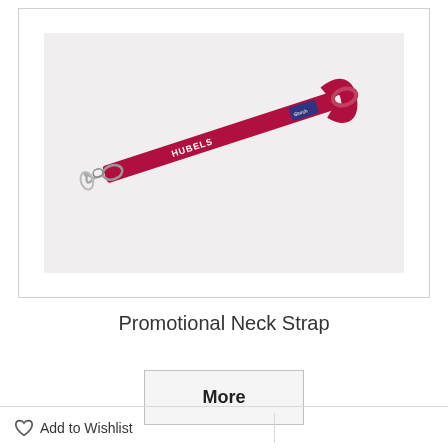[Figure (photo): A crimson/dark red promotional lanyard (neck strap) with a metal lobster-claw clip at one end and a loop at the other, laid flat diagonally. White text printed on the strap reads 'HUBELS' near the clip end, and additional text/logo near the loop end.]
Promotional Neck Strap
More
Add to Wishlist